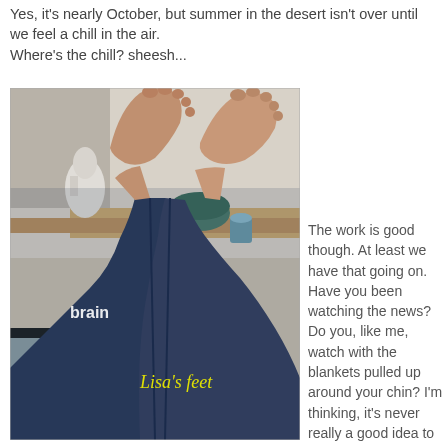Yes, it's nearly October, but summer in the desert isn't over until we feel a chill in the air.
Where's the chill? sheesh...
[Figure (photo): A photo of someone's legs in jeans propped up on a cluttered art studio worktable, bare feet visible at top. Text annotations on the photo read 'brain' in white near the knee area and 'Lisa's feet' in yellow near the feet.]
The work is good though. At least we have that going on. Have you been watching the news? Do you, like me, watch with the blankets pulled up around your chin? I'm thinking, it's never really a good idea to